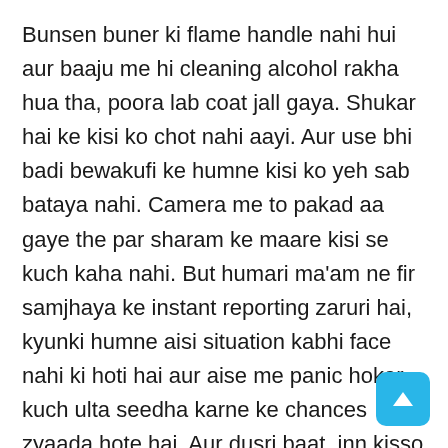Bunsen buner ki flame handle nahi hui aur baaju me hi cleaning alcohol rakha hua tha, poora lab coat jall gaya. Shukar hai ke kisi ko chot nahi aayi. Aur use bhi badi bewakufi ke humne kisi ko yeh sab bataya nahi. Camera me to pakad aa gaye the par sharam ke maare kisi se kuch kaha nahi. But humari ma'am ne fir samjhaya ke instant reporting zaruri hai, kyunki humne aisi situation kabhi face nahi ki hoti hai aur aise me panic hokar kuch ulta seedha karne ke chances zyaada hote hai. Aur dusri baat, inn kisso se baaki students ko bhi sabak seekhne ka mauka milta hai. Uss din se GLP ko serious lene lag gaya.